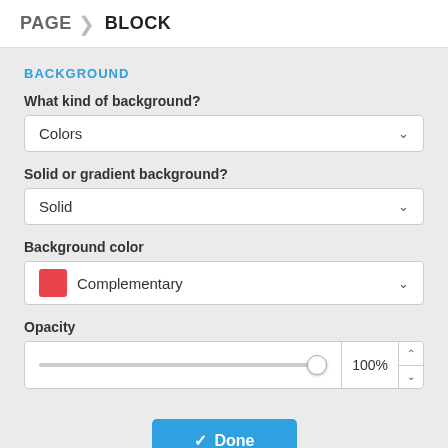PAGE  BLOCK
BACKGROUND
What kind of background?
Colors
Solid or gradient background?
Solid
Background color
Complementary
Opacity
100%
Done